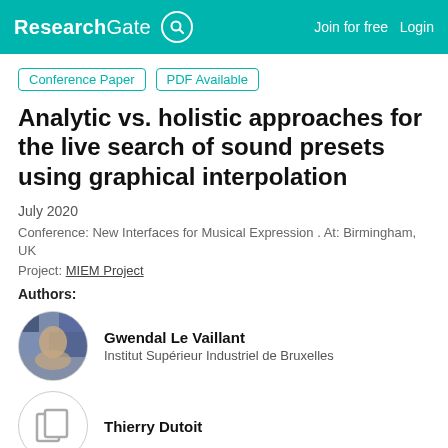ResearchGate  Join for free  Login
Conference Paper  PDF Available
Analytic vs. holistic approaches for the live search of sound presets using graphical interpolation
July 2020
Conference: New Interfaces for Musical Expression . At: Birmingham, UK
Project: MIEM Project
Authors:
[Figure (photo): Profile photo of Gwendal Le Vaillant]
Gwendal Le Vaillant
Institut Supérieur Industriel de Bruxelles
[Figure (illustration): Placeholder avatar icon for Thierry Dutoit]
Thierry Dutoit